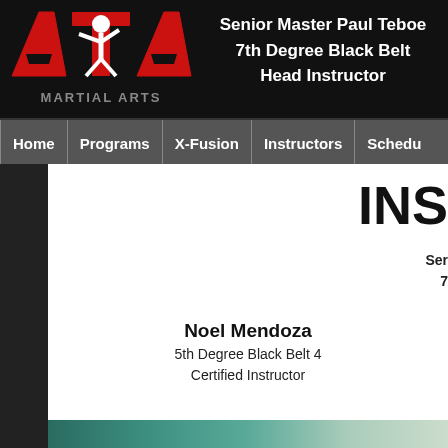[Figure (logo): ATA Martial Arts logo with red letters and white karate figure silhouette]
Senior Master Paul Teboe
7th Degree Black Belt
Head Instructor
Home | Programs | X-Fusion | Instructors | Schedu...
INS
Ser
7
Noel Mendoza
5th Degree Black Belt 4
Certified Instructor